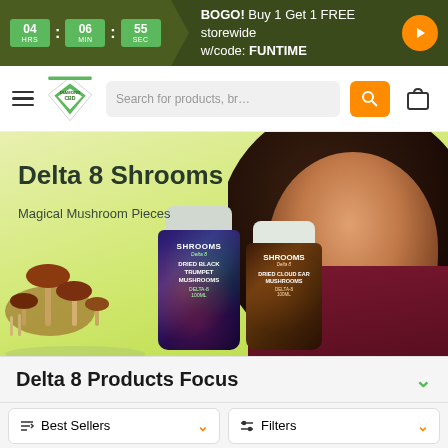BOGO! Buy 1 Get 1 FREE storewide w/code: FUNTIME — Countdown: 04 HRS : 06 MIN : 55 SEC
[Figure (logo): Diamond CBD logo with hamburger menu, search bar, search button, and cart icon]
[Figure (photo): Hero banner for Delta 8 Shrooms — Magical Mushroom Pieces, showing product jars (SHROOMS Delta 8 Dried Black Trumpet Mushrooms and Dried Cloud Ear Mushrooms), mushrooms, and a smiling woman model on green-yellow background]
Delta 8 Shrooms
Magical Mushroom Pieces
Delta 8 Products Focus
Best Sellers
Filters